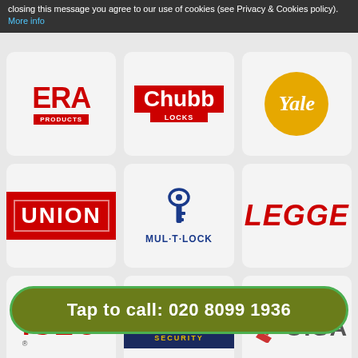closing this message you agree to our use of cookies (see Privacy & Cookies policy). More info
[Figure (logo): ERA Products logo - red text with blue underline bar]
[Figure (logo): Chubb Locks logo - red background white text]
[Figure (logo): Yale logo - white italic text on yellow circle]
[Figure (logo): UNION logo - white bold text on red rectangle]
[Figure (logo): MUL-T-LOCK logo - blue key icon with text]
[Figure (logo): LEGGE logo - red italic bold text]
[Figure (logo): ISEO logo - red text with line over S]
[Figure (logo): Ingersoll Security logo - white text on navy background]
[Figure (logo): CISA logo - red chevrons with grey CISA text]
Tap to call: 020 8099 1936